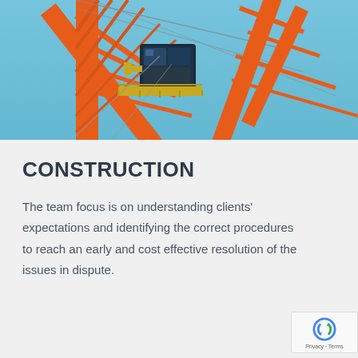[Figure (photo): Close-up upward-angle photograph of an orange construction tower crane with a blue-glazed operator cabin against a clear blue sky]
CONSTRUCTION
The team focus is on understanding clients' expectations and identifying the correct procedures to reach an early and cost effective resolution of the issues in dispute.